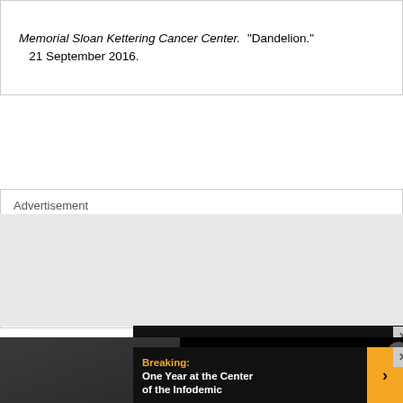Memorial Sloan Kettering Cancer Center.  "Dandelion."  21 September 2016.
Advertisement
[Figure (screenshot): Advertisement banner showing 'Breaking: One Year at the Center of' with close button, overlaid by video player showing a man seated with text 'Did John McAfee Hide Files at Collapsed Miami Building?' and a bottom banner 'Breaking: One Year at the Center of the Infodemic' with arrow button.]